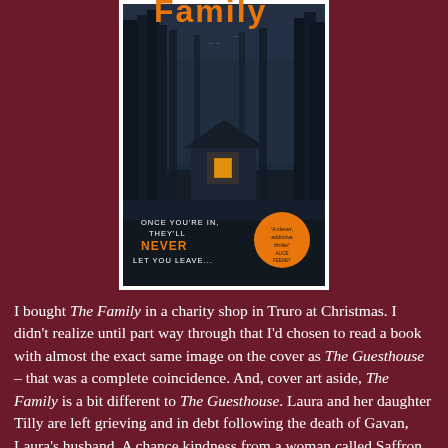[Figure (illustration): Book cover of 'The Family' showing a dark forest scene with a house with glowing window, text 'ONCE YOU'RE IN, THEY'LL NEVER LET YOU LEAVE...' and quote badge 'A clever, addictive thriller - Alice Feeney']
I bought The Family in a charity shop in Truro at Christmas. I didn't realize until part way through that I'd chosen to read a book with almost the exact same image on the cover as The Guesthouse – that was a complete coincidence. And, cover art aside, The Family is a bit different to The Guesthouse. Laura and her daughter Tilly are left grieving and in debt following the death of Gavan, Laura's husband. A chance kindness from a woman called Saffron (someone Laura vaguely knows through her work) leads the women to a farm in Mid Wales that's being run as a community/commune by a mysterious young man called Alex. As the book hints from its first page, and this summary is intended to convey, the f...